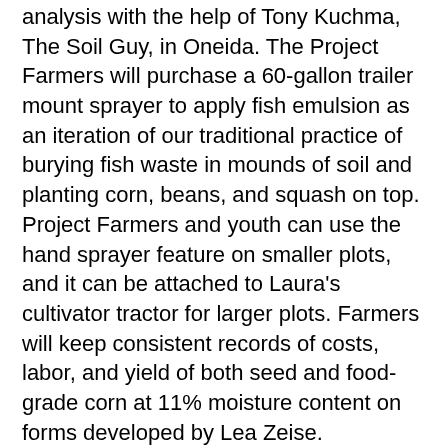analysis with the help of Tony Kuchma, The Soil Guy, in Oneida. The Project Farmers will purchase a 60-gallon trailer mount sprayer to apply fish emulsion as an iteration of our traditional practice of burying fish waste in mounds of soil and planting corn, beans, and squash on top. Project Farmers and youth can use the hand sprayer feature on smaller plots, and it can be attached to Laura's cultivator tractor for larger plots. Farmers will keep consistent records of costs, labor, and yield of both seed and food-grade corn at 11% moisture content on forms developed by Lea Zeise.
Project Farmers will investigate trading seed with other Iroquois farmers in New York and selling raw, shelled corn to Oneida Cannery for processing and sale on the Oneida reservation. With data showing production cost, yield of dry white corn, Cannery purchasing needs and price per pound.
We will also distribute corn song CDs so farmers can play traditional songs while they work in the